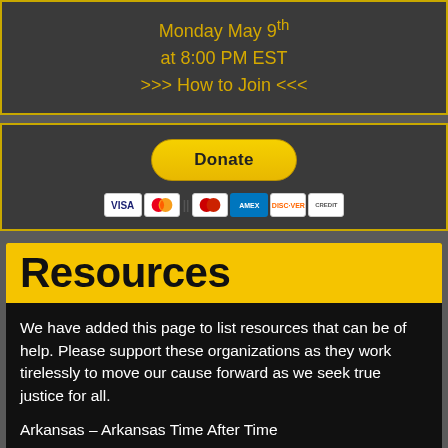Monday May 9th at 8:00 PM EST >>> How to Join <<<
[Figure (other): PayPal Donate button with payment icons (Visa, Mastercard, American Express, Discover, and other cards)]
Resources
We have added this page to list resources that can be of help. Please support these organizations as they work tirelessly to move our cause forward as we seek true justice for all.
Arkansas – Arkansas Time After Time